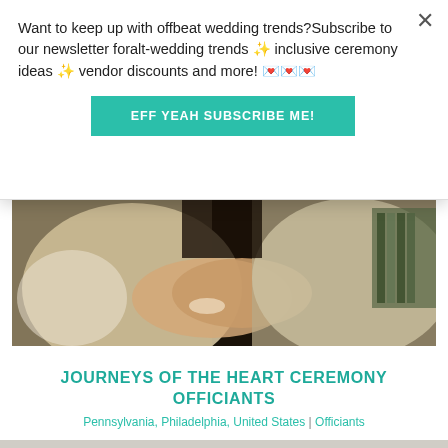Want to keep up with offbeat wedding trends?Subscribe to our newsletter for​alt-wedding trends ✨ inclusive ceremony ideas ✨ vendor discounts and more! 💌💌💌
EFF YEAH SUBSCRIBE ME!
[Figure (photo): Close-up photo of two people holding hands during a wedding ceremony, one wearing a lace wedding dress with a bracelet, the other in a light-colored suit, with bookshelves visible in background.]
JOURNEYS OF THE HEART CEREMONY OFFICIANTS
Pennsylvania, Philadelphia, United States | Officiants